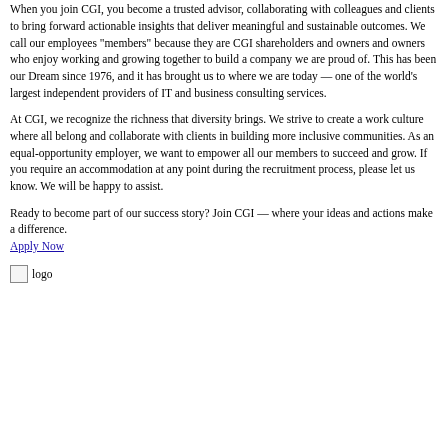While technology is at the heart of our clients' digital transformation, we understand that people are at the heart of business success.
When you join CGI, you become a trusted advisor, collaborating with colleagues and clients to bring forward actionable insights that deliver meaningful and sustainable outcomes. We call our employees "members" because they are CGI shareholders and owners and owners who enjoy working and growing together to build a company we are proud of. This has been our Dream since 1976, and it has brought us to where we are today — one of the world's largest independent providers of IT and business consulting services.
At CGI, we recognize the richness that diversity brings. We strive to create a work culture where all belong and collaborate with clients in building more inclusive communities. As an equal-opportunity employer, we want to empower all our members to succeed and grow. If you require an accommodation at any point during the recruitment process, please let us know. We will be happy to assist.
Ready to become part of our success story? Join CGI — where your ideas and actions make a difference.
Apply Now
[Figure (logo): CGI logo image placeholder with 'logo' text]